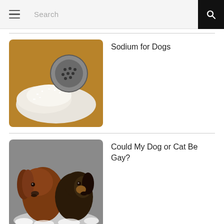Search
[Figure (photo): Close-up photo of salt being poured from a metal salt shaker onto a wooden surface with salt crystals piled up]
Sodium for Dogs
[Figure (photo): Two dachshund dogs, one long-haired brown and one black and brown, posing together among white flowers]
Could My Dog or Cat Be Gay?